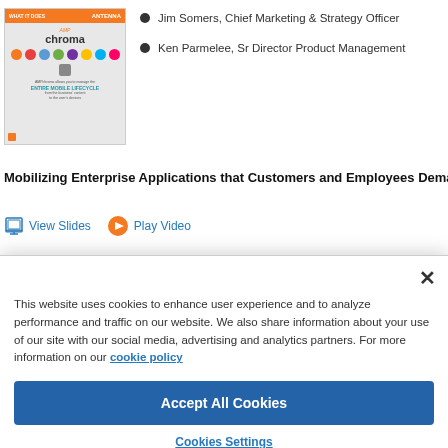[Figure (screenshot): Thumbnail of AMP Chroma product slide with orange top bar showing 'WHAT IT DOES' and 'ANTENNA', colored icon circles, and text about entire mobile lifecycle]
Jim Somers, Chief Marketing & Strategy Officer
Ken Parmelee, Sr Director Product Management
Mobilizing Enterprise Applications that Customers and Employees Demand
View Slides   Play Video
[Figure (screenshot): Thumbnail of a slide about Kapow Robotics Application Integration Platform with arrows and blue boxes]
Stefan Andreasen, CTO and Founder
Mobile IT Agenda
This website uses cookies to enhance user experience and to analyze performance and traffic on our website. We also share information about your use of our site with our social media, advertising and analytics partners. For more information on our cookie policy
Accept All Cookies
Cookies Settings